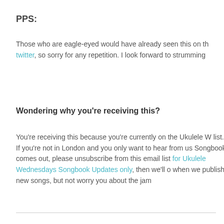PPS:
Those who are eagle-eyed would have already seen this on th twitter, so sorry for any repetition. I look forward to strumming
Wondering why you're receiving this?
You're receiving this because you're currently on the Ukulele W list. If you're not in London and you only want to hear from us Songbook comes out, please unsubscribe from this email list for Ukulele Wednesdays Songbook Updates only, then we'll o when we publish new songs, but not worry you about the jam